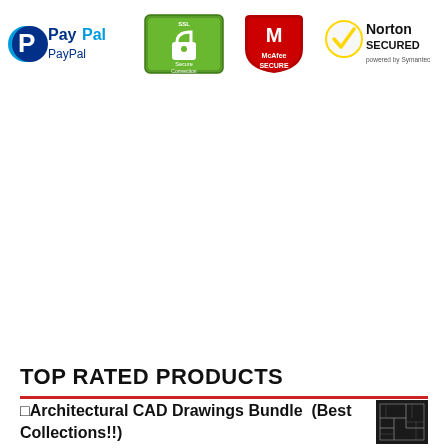[Figure (logo): PayPal logo, SSL Secure Connection badge, McAfee SECURE badge, Norton SECURED powered by Symantec badge]
TOP RATED PRODUCTS
⬜Architectural CAD Drawings Bundle  (Best Collections!!)